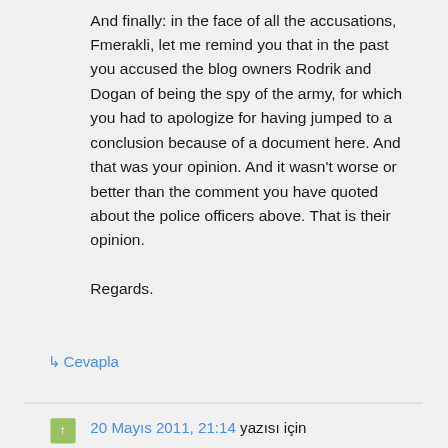And finally: in the face of all the accusations, Fmerakli, let me remind you that in the past you accused the blog owners Rodrik and Dogan of being the spy of the army, for which you had to apologize for having jumped to a conclusion because of a document here. And that was your opinion. And it wasn't worse or better than the comment you have quoted about the police officers above. That is their opinion.

Regards.
↳ Cevapla
20 Mayıs 2011, 21:14 yazısı için